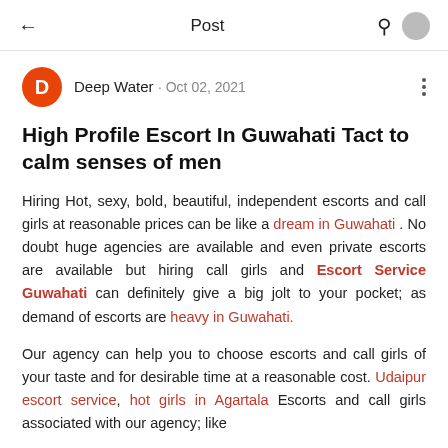← Post
Deep Water · Oct 02, 2021
High Profile Escort In Guwahati Tact to calm senses of men
Hiring Hot, sexy, bold, beautiful, independent escorts and call girls at reasonable prices can be like a dream in Guwahati . No doubt huge agencies are available and even private escorts are available but hiring call girls and Escort Service Guwahati can definitely give a big jolt to your pocket; as demand of escorts are heavy in Guwahati.
Our agency can help you to choose escorts and call girls of your taste and for desirable time at a reasonable cost. Udaipur escort service, hot girls in Agartala Escorts and call girls associated with our agency; like
Jaipur escort service
Agartala escort service,
Pahore...